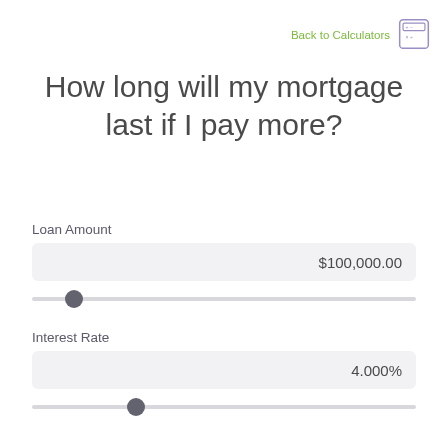Back to Calculators
How long will my mortgage last if I pay more?
Loan Amount
$100,000.00
Interest Rate
4.000%